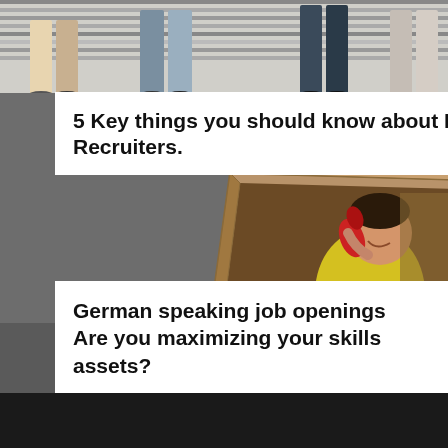[Figure (photo): Top strip photo showing legs and feet of multiple people standing, muted tones, gray background with horizontal blind-like lines]
5 Key things you should know about In-House Recruiters.
[Figure (photo): Woman in a yellow shirt sitting inside a tilted cardboard box, holding a red vintage telephone receiver to her ear, smiling, against gray background]
German speaking job openings Are you maximizing your skills assets?